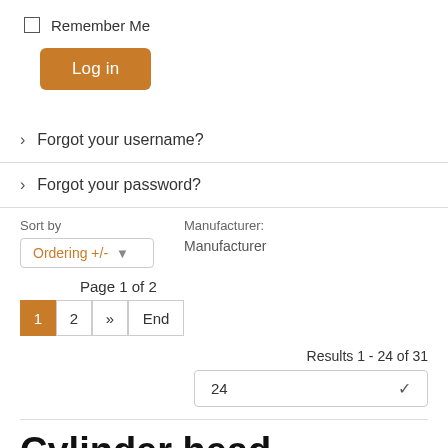Remember Me
Log in
> Forgot your username?
> Forgot your password?
Sort by  Ordering +/-   Manufacturer: Manufacturer
Page 1 of 2
1  2  »  End
Results 1 - 24 of 31
24
Cylinder head